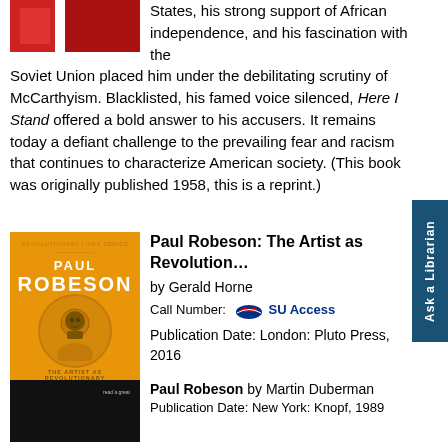[Figure (illustration): Top-left portion of a book cover showing red and white design, partially cropped]
States, his strong support of African independence, and his fascination with the Soviet Union placed him under the debilitating scrutiny of McCarthyism. Blacklisted, his famed voice silenced, Here I Stand offered a bold answer to his accusers. It remains today a defiant challenge to the prevailing fear and racism that continues to characterize American society. (This book was originally published 1958, this is a reprint.)
[Figure (illustration): Book cover: Paul Robeson: The Artist as Revolutionary by Gerald Horne, orange cover with portrait illustration]
Paul Robeson: The Artist as Revolutionary
by Gerald Horne
Call Number: SU Access
Publication Date: London: Pluto Press, 2016
[Figure (photo): Book cover: Paul Robeson by Martin Duberman, dark/black cover]
Paul Robeson by Martin Duberman
Publication Date: New York: Knopf, 1989